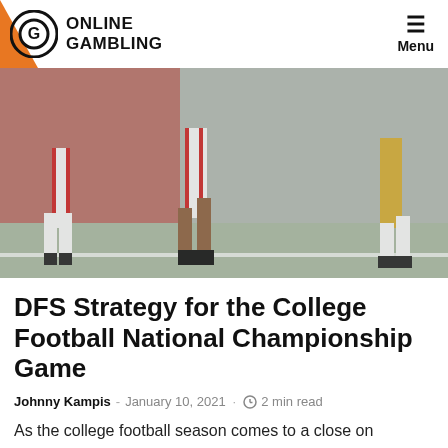Online Gambling — Menu
[Figure (photo): Football players running on a field during a college football game, showing legs and cleats from the waist down, with a red-background stadium visible.]
DFS Strategy for the College Football National Championship Game
Johnny Kampis - January 10, 2021 — 2 min read
As the college football season comes to a close on Monday with the national championship game, the DFS sites will offer their last showdown contests. On DraftKings, we must